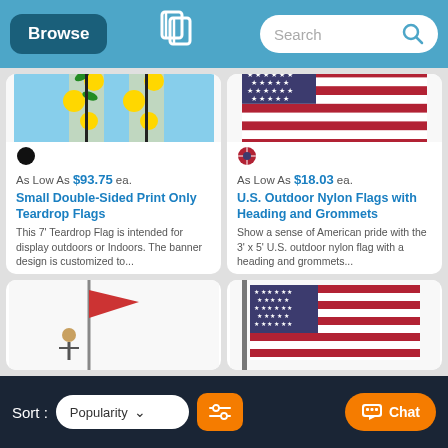Browse | [Logo] | Search
[Figure (photo): Two teardrop-shaped flags with sunflower design on black poles, viewed from above]
As Low As $93.75 ea.
Small Double-Sided Print Only Teardrop Flags
This 7' Teardrop Flag is intended for display outdoors or Indoors. The banner design is customized to...
[Figure (photo): U.S. American flag with stars and stripes on white background]
As Low As $18.03 ea.
U.S. Outdoor Nylon Flags with Heading and Grommets
Show a sense of American pride with the 3' x 5' U.S. outdoor nylon flag with a heading and grommets...
[Figure (photo): Partial view of a flag product - bottom left card]
[Figure (photo): Partial view of U.S. flag product - bottom right card]
Sort: Popularity ▼  [Filter icon]  [Chat]